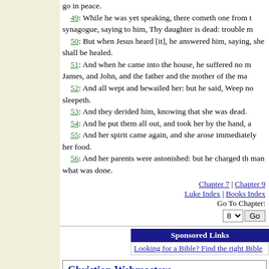go in peace.
49: While he was yet speaking, there cometh one from the synagogue, saying to him, Thy daughter is dead: trouble m
50: But when Jesus heard [it], he answered him, saying, she shall be healed.
51: And when he came into the house, he suffered no man to go in with him, save Peter, and James, and John, and the father and the mother of the maiden.
52: And all wept and bewailed her: but he said, Weep not; she is not dead, but sleepeth.
53: And they derided him, knowing that she was dead.
54: And he put them all out, and took her by the hand, a
55: And her spirit came again, and she arose immediately her food.
56: And her parents were astonished: but he charged them man what was done.
Chapter 7 | Chapter 9
Luke Index | Books Index
Go To Chapter:
8  Go
Sponsored Links
Looking for a Bible? Find the right Bible
Christian Webmasters
Free Christian stuff for your web site
ChristiansUnite.com  The Gospel Banner Exch